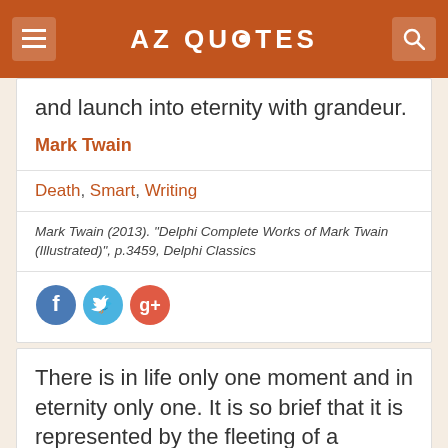AZ QUOTES
and launch into eternity with grandeur.
Mark Twain
Death, Smart, Writing
Mark Twain (2013). “Delphi Complete Works of Mark Twain (Illustrated)”, p.3459, Delphi Classics
[Figure (other): Social sharing icons: Facebook, Twitter, Google+]
There is in life only one moment and in eternity only one. It is so brief that it is represented by the fleeting of a luminous mote through the thin ray of sunlight - and it is visible but a